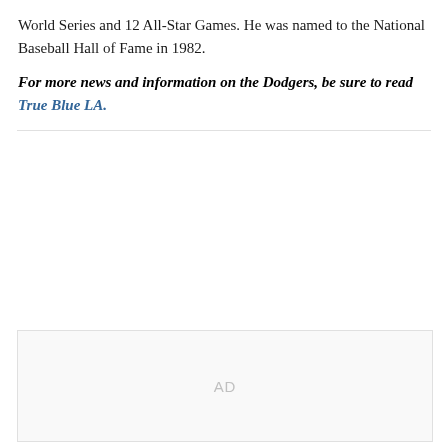World Series and 12 All-Star Games. He was named to the National Baseball Hall of Fame in 1982.
For more news and information on the Dodgers, be sure to read True Blue LA.
[Figure (other): Advertisement placeholder block with 'AD' label centered in a light gray bordered rectangle]